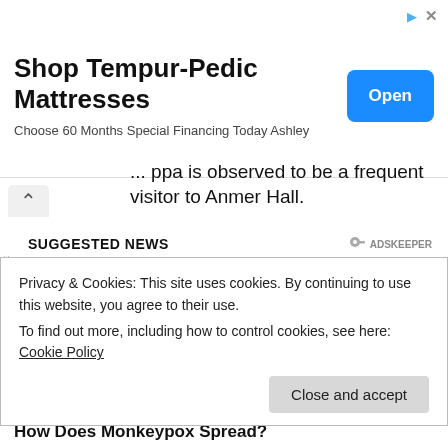[Figure (screenshot): Advertisement banner for Shop Tempur-Pedic Mattresses with Open button]
...ppa is observed to be a frequent visitor to Anmer Hall.
SUGGESTED NEWS
[Figure (photo): Close-up photo of a person's face with artistic white paint/makeup in an abstract pattern over dark skin, with dramatic eye makeup]
Privacy & Cookies: This site uses cookies. By continuing to use this website, you agree to their use.
To find out more, including how to control cookies, see here: Cookie Policy
Close and accept
How Does Monkeypox Spread?